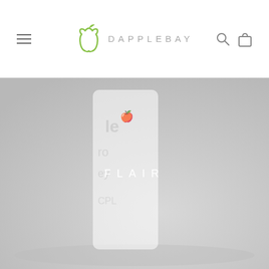DAPPLEBAY
[Figure (photo): Hero image showing a white product bottle/box on a light grey background with the text FLAIR overlaid in white letters]